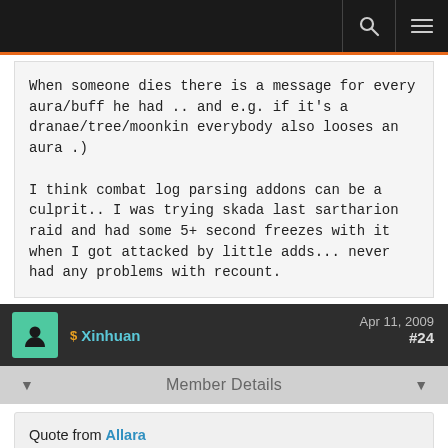Forum page header with search and menu icons
When someone dies there is a message for every aura/buff he had .. and e.g. if it's a dranae/tree/moonkin everybody also looses an aura .)

I think combat log parsing addons can be a culprit.. I was trying skada last sartharion raid and had some 5+ second freezes with it when I got attacked by little adds... never had any problems with recount.
Xinhuan   Apr 11, 2009   #24
Member Details
Quote from Allara
I installed AddonSpamFu today for the first time, and I was shocked at the amount of junk traffic I get from all